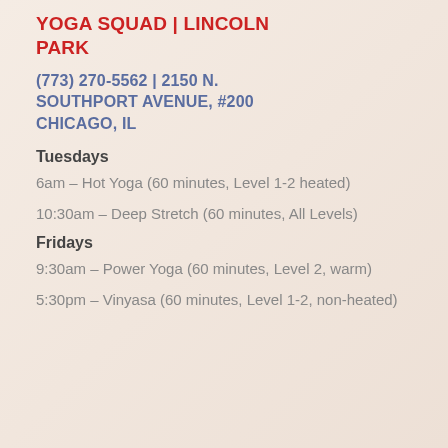YOGA SQUAD | LINCOLN PARK
(773) 270-5562 | 2150 N. SOUTHPORT AVENUE, #200 CHICAGO, IL
Tuesdays
6am – Hot Yoga (60 minutes, Level 1-2 heated)
10:30am – Deep Stretch (60 minutes, All Levels)
Fridays
9:30am – Power Yoga (60 minutes, Level 2, warm)
5:30pm – Vinyasa (60 minutes, Level 1-2, non-heated)